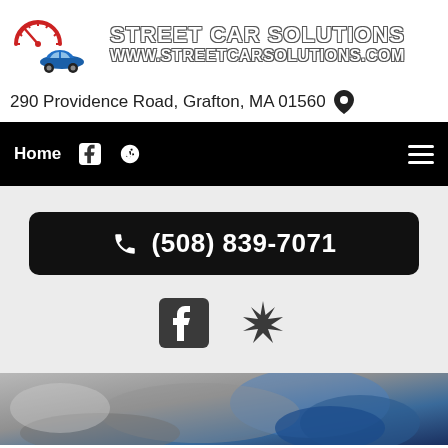[Figure (logo): Street Car Solutions logo with speedometer graphic and blue car, company name and website URL]
290 Providence Road, Grafton, MA 01560
Home | Facebook | Yelp | Menu
(508) 839-7071
[Figure (illustration): Facebook and Yelp social media icons]
[Figure (photo): Mechanic in blue shirt working under car hood]